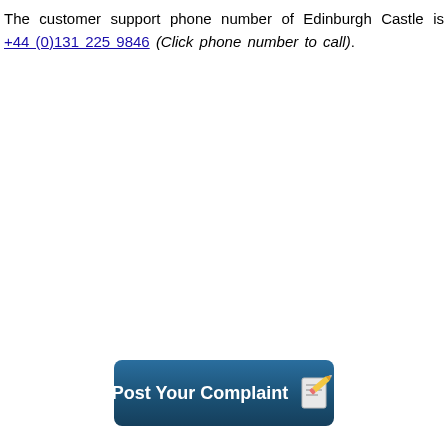The customer support phone number of Edinburgh Castle is +44 (0)131 225 9846 (Click phone number to call).
[Figure (other): A teal/dark-blue rounded rectangle button labeled 'Post Your Complaint' with a notepad-and-pencil icon on the right.]